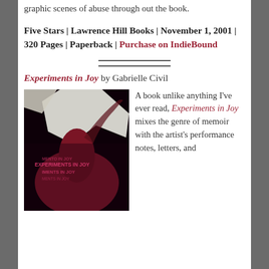graphic scenes of abuse through out the book.
Five Stars | Lawrence Hill Books | November 1, 2001 | 320 Pages | Paperback | Purchase on IndieBound
Experiments in Joy by Gabrielle Civil
[Figure (photo): Book cover of Experiments in Joy showing a person in a red dress against a dark background with the title repeated in pink text]
A book unlike anything I've ever read, Experiments in Joy mixes the genre of memoir with the artist's performance notes, letters, and